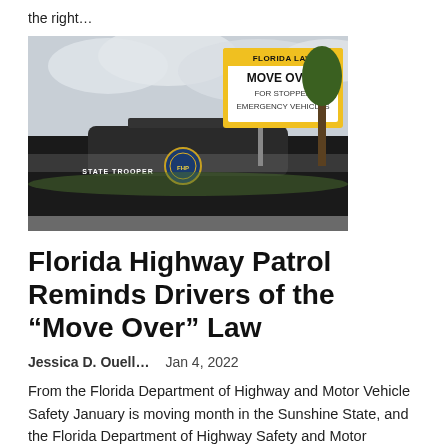the right…
[Figure (photo): A Florida State Trooper police car parked in front of a yellow and white road sign reading 'FLORIDA LAW / MOVE OVER / FOR STOPPED / EMERGENCY VEHICLES', with green trees and cloudy sky in the background.]
Florida Highway Patrol Reminds Drivers of the “Move Over” Law
Jessica D. Ouell…   Jan 4, 2022
From the Florida Department of Highway and Motor Vehicle Safety January is moving month in the Sunshine State, and the Florida Department of Highway Safety and Motor Vehicles (FLHSMV) and…